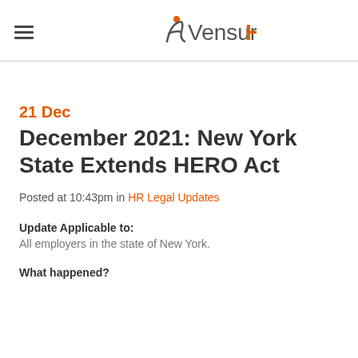VensureHR
21 Dec
December 2021: New York State Extends HERO Act
Posted at 10:43pm in HR Legal Updates
Update Applicable to:
All employers in the state of New York.
What happened?